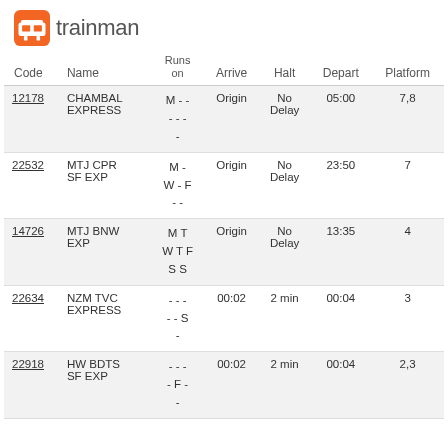trainman
| Code | Name | Runs on | Arrive | Halt | Depart | Platform |
| --- | --- | --- | --- | --- | --- | --- |
| 12178 | CHAMBAL EXPRESS | M - - - - - - | Origin | No Delay | 05:00 | 7,8 |
| 22532 | MTJ CPR SF EXP | M - W - F - - | Origin | No Delay | 23:50 | 7 |
| 14726 | MTJ BNW EXP | M T W T F S S | Origin | No Delay | 13:35 | 4 |
| 22634 | NZM TVC EXPRESS | - - - - - - S | 00:02 | 2 min | 00:04 | 3 |
| 22918 | HW BDTS SF EXP | - - - - F - - | 00:02 | 2 min | 00:04 | 2,3 |